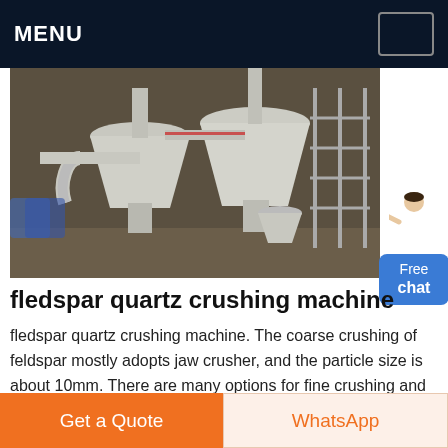MENU
[Figure (photo): Industrial grinding/crushing machine with white pipes, cyclone separators and metal scaffolding in a factory setting]
fledspar quartz crushing machine
fledspar quartz crushing machine. The coarse crushing of feldspar mostly adopts jaw crusher, and the particle size is about 10mm. There are many options for fine crushing and grinding machines of the feldspar processing plant, mainly roller crusher, impact crusher, sand making machine, hammer crusher, stone grinding, column mill
Get a Quote
WhatsApp